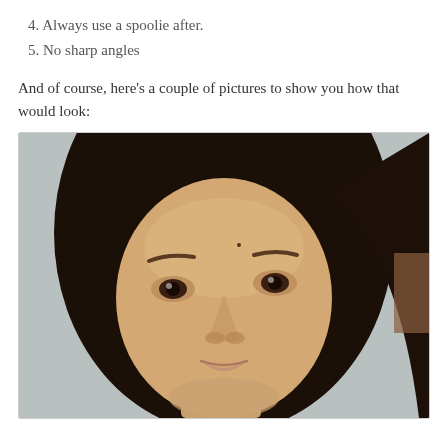4. Always use a spoolie after.
5. No sharp angles
And of course, here's a couple of pictures to show you how that would look:
[Figure (photo): Close-up front-facing portrait photo of a young Asian woman with dark hair, defined eyebrows, looking directly at the camera against a light gray background.]